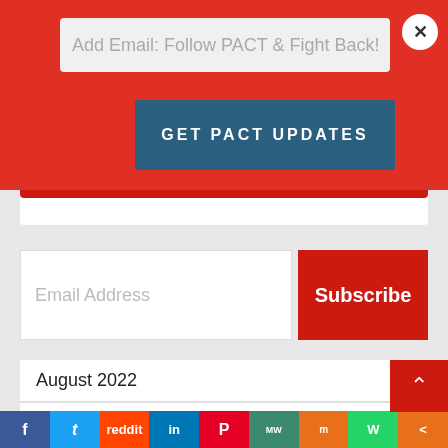Add Email: Follow PACT & Fight Back!
Get PACT Updates
Email Address
Subscribe
August 2022
July 2022
June 2022